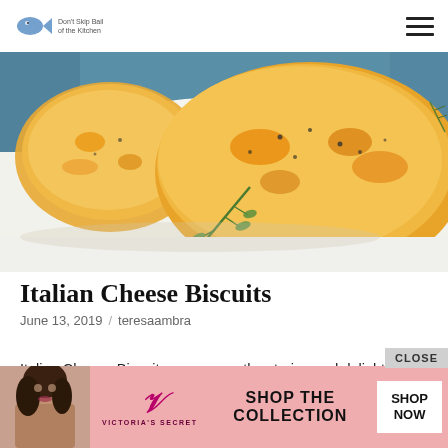Don't Skip Bail of the Kitchen / [hamburger menu]
[Figure (photo): Close-up photo of golden Italian cheese biscuits on a white plate with fresh thyme herb garnish, on a blue fabric background]
Italian Cheese Biscuits
June 13, 2019 / teresaambra
Italian Cheese Biscuits are so mouthwatering and delightful. These biscuits are filled with Cheddar cheese and s... a garlic...
[Figure (photo): Victoria's Secret advertisement banner with model photo, VS logo, 'SHOP THE COLLECTION' text, and 'SHOP NOW' button. Has 'CLOSE' button overlay.]